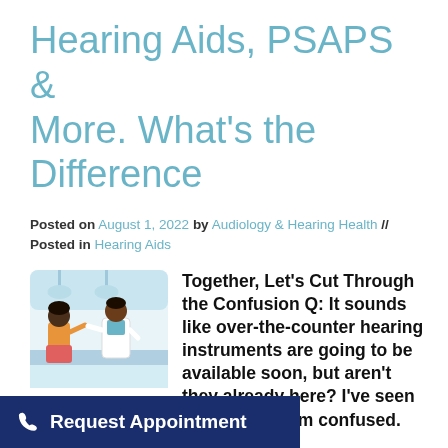Hearing Aids, PSAPS & More. What's the Difference
Posted on August 1, 2022 by Audiology & Hearing Health // Posted in Hearing Aids
[Figure (illustration): Illustration of two people in a medical/clinic setting — a patient and a healthcare professional in a white coat conversing.]
Together, Let's Cut Through the Confusion Q: It sounds like over-the-counter hearing instruments are going to be available soon, but aren't they already here? I've seen various devices advertised, so I'm confused. Help! A: From over-the-nd personal...
Request Appointment